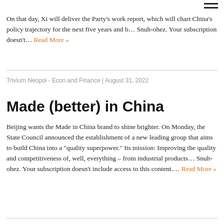On that day, Xi will deliver the Party's work report, which will chart China's policy trajectory for the next five years and b… Snuh-ohez. Your subscription doesn't… Read More »
Trivium Neopol - Econ and Finance | August 31, 2022
Made (better) in China
Beijing wants the Made in China brand to shine brighter. On Monday, the State Council announced the establishment of a new leading group that aims to build China into a "quality superpower." Its mission: Improving the quality and competitiveness of, well, everything – from industrial products… Snuh-ohez. Your subscription doesn't include access to this content.… Read More »